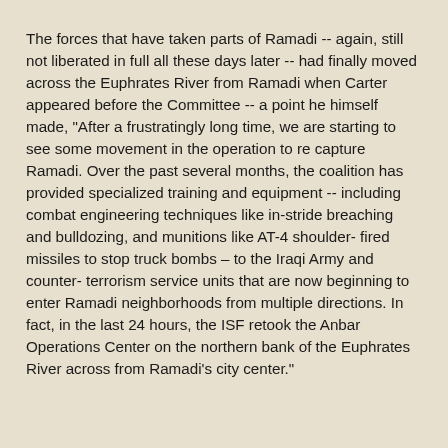The forces that have taken parts of Ramadi -- again, still not liberated in full all these days later -- had finally moved across the Euphrates River from Ramadi when Carter appeared before the Committee -- a point he himself made, "After a frustratingly long time, we are starting to see some movement in the operation to re capture Ramadi. Over the past several months, the coalition has provided specialized training and equipment -- including combat engineering techniques like in-stride breaching and bulldozing, and munitions like AT-4 shoulder- fired missiles to stop truck bombs – to the Iraqi Army and counter- terrorism service units that are now beginning to enter Ramadi neighborhoods from multiple directions. In fact, in the last 24 hours, the ISF retook the Anbar Operations Center on the northern bank of the Euphrates River across from Ramadi's city center."